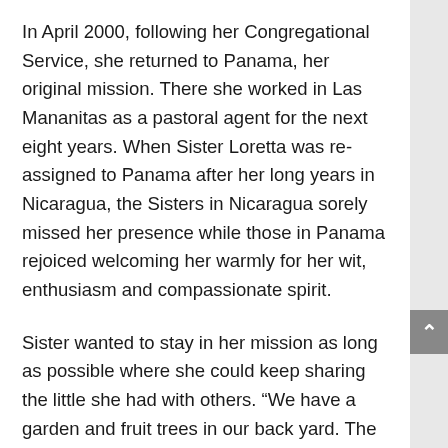In April 2000, following her Congregational Service, she returned to Panama, her original mission. There she worked in Las Mananitas as a pastoral agent for the next eight years. When Sister Loretta was re-assigned to Panama after her long years in Nicaragua, the Sisters in Nicaragua sorely missed her presence while those in Panama rejoiced welcoming her warmly for her wit, enthusiasm and compassionate spirit.
Sister wanted to stay in her mission as long as possible where she could keep sharing the little she had with others. “We have a garden and fruit trees in our back yard. The fruit and vegetables we grow we share with our neighbors.” Loretta gave generously of herself until her health necessitated her return to New York on August 7, 2008. She departed with every intention of returning to